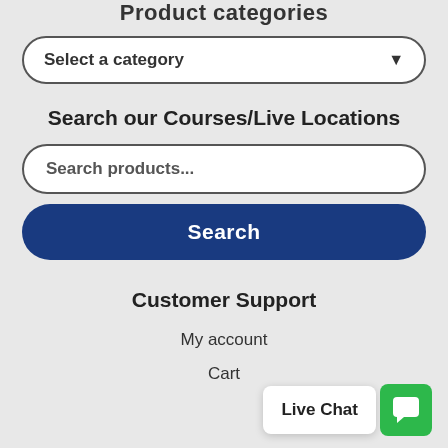Product categories
Select a category
Search our Courses/Live Locations
Search products...
Search
Customer Support
My account
Cart
Live Chat